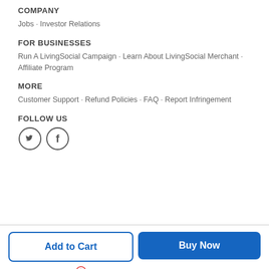COMPANY
Jobs · Investor Relations
FOR BUSINESSES
Run A LivingSocial Campaign · Learn About LivingSocial Merchant · Affiliate Program
MORE
Customer Support · Refund Policies · FAQ · Report Infringement
FOLLOW US
[Figure (illustration): Twitter and Facebook social media icons (circle outlines with bird and f logos)]
Add to Cart
Buy Now
Sale ends in: 1 day 10:00:03